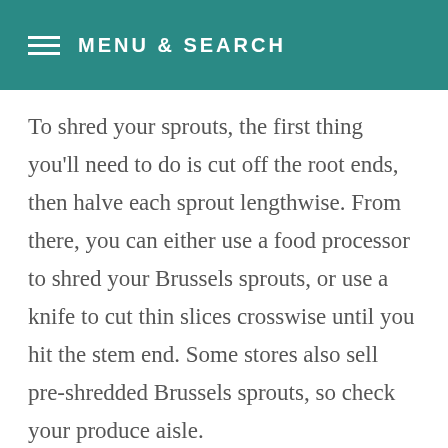MENU & SEARCH
To shred your sprouts, the first thing you'll need to do is cut off the root ends, then halve each sprout lengthwise. From there, you can either use a food processor to shred your Brussels sprouts, or use a knife to cut thin slices crosswise until you hit the stem end. Some stores also sell pre-shredded Brussels sprouts, so check your produce aisle.